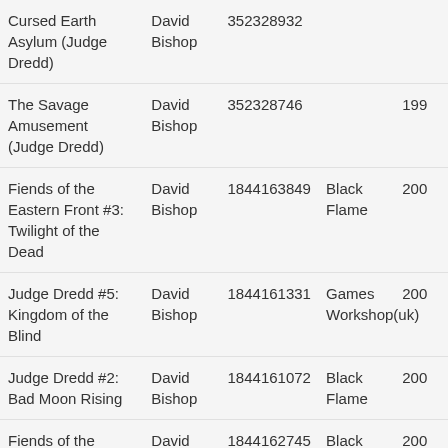| Title | Author | ISBN | Publisher | Year |
| --- | --- | --- | --- | --- |
| Cursed Earth Asylum (Judge Dredd) | David Bishop | 352328932 |  |  |
| The Savage Amusement (Judge Dredd) | David Bishop | 352328746 |  | 199 |
| Fiends of the Eastern Front #3: Twilight of the Dead | David Bishop | 1844163849 | Black Flame | 200 |
| Judge Dredd #5: Kingdom of the Blind | David Bishop | 1844161331 | Games Workshop(uk) | 200 |
| Judge Dredd #2: Bad Moon Rising | David Bishop | 1844161072 | Black Flame | 200 |
| Fiends of the Eastern Front: Operation Vampyr | David Bishop | 1844162745 | Black Flame | 200 |
| Fiends of the Eastern Front | David Bishop | 1844164551 | Black Flame | 200 |